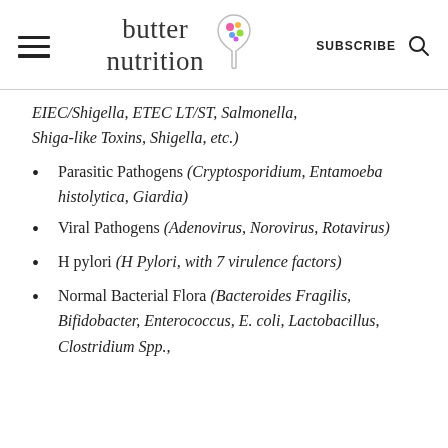butter nutrition — SUBSCRIBE
EIEC/Shigella, ETEC LT/ST, Salmonella, Shiga-like Toxins, Shigella, etc.)
Parasitic Pathogens (Cryptosporidium, Entamoeba histolytica, Giardia)
Viral Pathogens (Adenovirus, Norovirus, Rotavirus)
H pylori (H Pylori, with 7 virulence factors)
Normal Bacterial Flora (Bacteroides Fragilis, Bifidobacter, Enterococcus, E. coli, Lactobacillus, Clostridium Spp.,